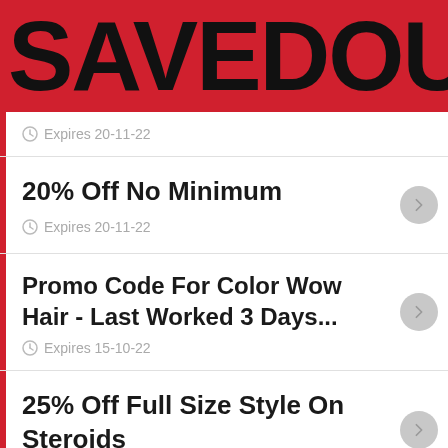SAVEDOUB
Expires 20-11-22
20% Off No Minimum
Expires 20-11-22
Promo Code For Color Wow Hair - Last Worked 3 Days...
Expires 15-10-22
25% Off Full Size Style On Steroids